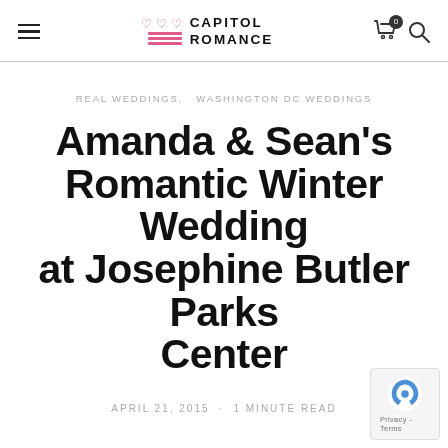Capitol Romance — navigation header with hamburger menu, Capitol Romance logo, cart icon with 0 badge, and search icon
REAL WEDDINGS,  WASHINGTON DC WEDDINGS
Amanda & Sean's Romantic Winter Wedding at Josephine Butler Parks Center
APRIL 21, 2015  ·  1 MINUTE READ